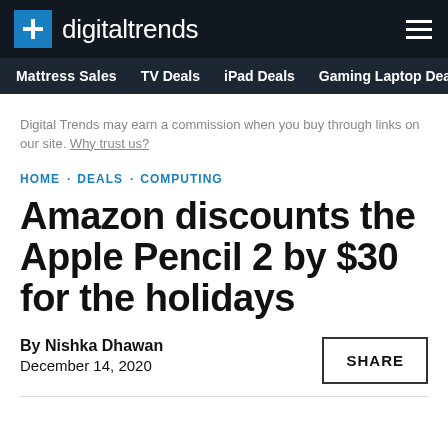digitaltrends
Mattress Sales · TV Deals · iPad Deals · Gaming Laptop Deals
Digital Trends may earn a commission when you buy through links on our site. Why trust us?
HOME · DEALS · COMPUTING
Amazon discounts the Apple Pencil 2 by $30 for the holidays
By Nishka Dhawan
December 14, 2020